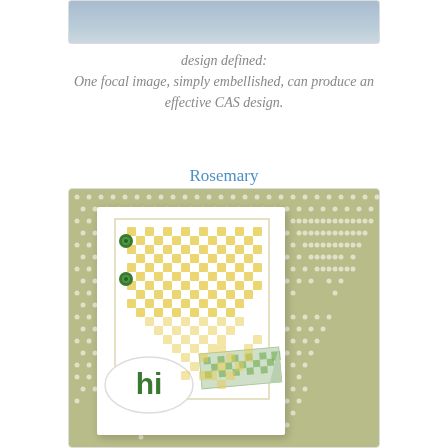[Figure (photo): Top portion of a craft card photo, partially visible at the top of the page]
design defined:
One focal image, simply embellished, can produce an effective CAS design.
Rosemary
[Figure (photo): A handmade greeting card with a 'hi' tag, yellow checkerboard stamped pattern, green brad embellishments, and a green checked strip, set against a sage green polka dot background]